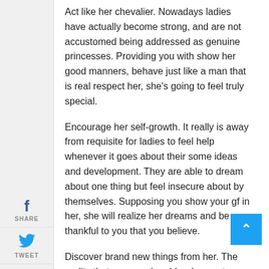Act like her chevalier. Nowadays ladies have actually become strong, and are not accustomed being addressed as genuine princesses. Providing you with show her good manners, behave just like a man that is real respect her, she’s going to feel truly special.
Encourage her self-growth. It really is away from requisite for ladies to feel help whenever it goes about their some ideas and development. They are able to dream about one thing but feel insecure about by themselves. Supposing you show your gf in her, she will realize her dreams and be thankful to you that you believe.
Discover brand new things from her. The reality that you may be older does not mean you’ll find nothing to understand from your own gf. She will turn into a supply of motivation to accomplish one thing brand brand new your lifetime. Don’t miss to be able to satisfy brand new individuals and experience new feelings together with her